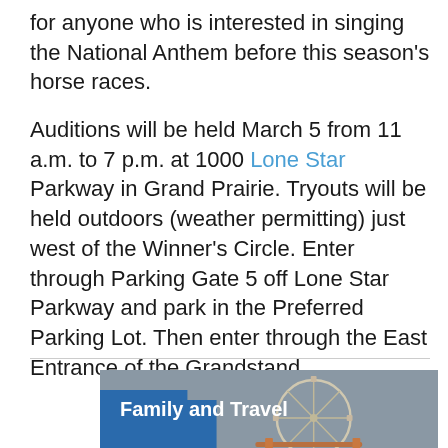for anyone who is interested in singing the National Anthem before this season's horse races.

Auditions will be held March 5 from 11 a.m. to 7 p.m. at 1000 Lone Star Parkway in Grand Prairie. Tryouts will be held outdoors (weather permitting) just west of the Winner's Circle. Enter through Parking Gate 5 off Lone Star Parkway and park in the Preferred Parking Lot. Then enter through the East Entrance of the Grandstand.
[Figure (photo): Video thumbnail showing a ferris wheel and amusement park scene with label 'Family and Travel' and a play button]